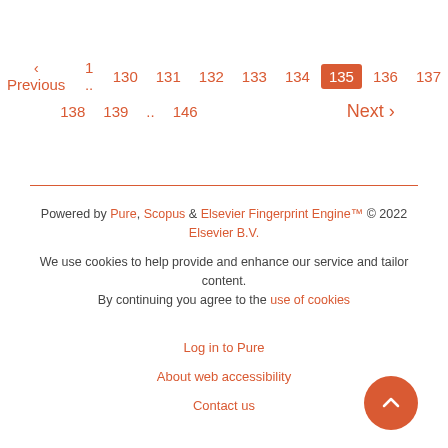‹ Previous  1 .. 130  131  132  133  134  135  136  137  138  139 .. 146  Next ›
Powered by Pure, Scopus & Elsevier Fingerprint Engine™ © 2022 Elsevier B.V.
We use cookies to help provide and enhance our service and tailor content. By continuing you agree to the use of cookies
Log in to Pure
About web accessibility
Contact us